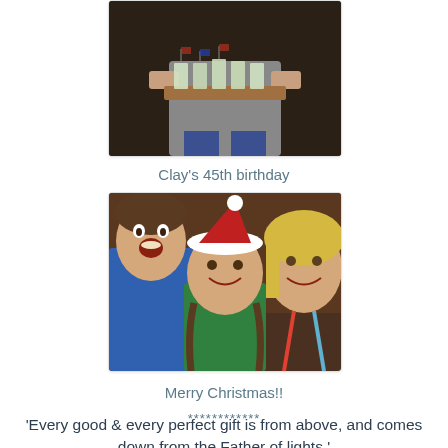[Figure (photo): Person holding a wooden tray with shot glasses or small drinks decorated with flags, partial view of torso]
Clay's 45th birthday
[Figure (photo): Three young people smiling at the camera; one on the left in a blue shirt making a funny face, one in the middle wearing a Santa/elf hat and green shirt with braids, one on the right with blonde hair]
Merry Christmas!!
************
'Every good & every perfect gift is from above, and comes down from the Father of lights.'